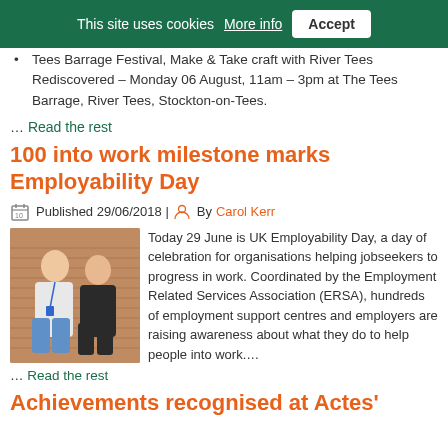This site uses cookies More info | Accept
Tees Barrage Festival, Make & Take craft with River Tees Rediscovered – Monday 06 August, 11am – 3pm at The Tees Barrage, River Tees, Stockton-on-Tees.
… Read the rest
100 into work milestone marks Employability Day
Published 29/06/2018 | By Carol Kerr
[Figure (photo): Two women standing in front of a brick wall, one in a white top and one in a dark floral dress]
Today 29 June is UK Employability Day, a day of celebration for organisations helping jobseekers to progress in work. Coordinated by the Employment Related Services Association (ERSA), hundreds of employment support centres and employers are raising awareness about what they do to help people into work….
Read the rest
Achievements recognised at Actes'